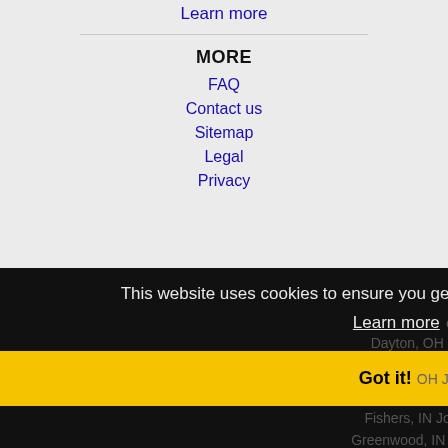Learn more
MORE
FAQ
Contact us
Sitemap
Legal
Privacy
This website uses cookies to ensure you get the best experience on our website.
Learn more or Jobs
Dayton, OH Jobs
Got it!
Fishers, IN Jobs
Greenwood, IN Jobs